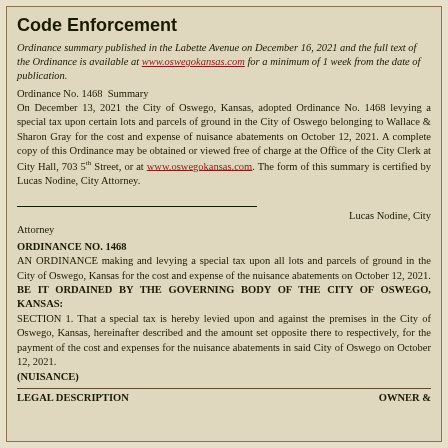Code Enforcement
Ordinance summary published in the Labette Avenue on December 16, 2021 and the full text of the Ordinance is available at www.oswegokansas.com for a minimum of 1 week from the date of publication.
Ordinance No. 1468  Summary
On December 13, 2021 the City of Oswego, Kansas, adopted Ordinance No. 1468 levying a special tax upon certain lots and parcels of ground in the City of Oswego belonging to Wallace & Sharon Gray for the cost and expense of nuisance abatements on October 12, 2021. A complete copy of this Ordinance may be obtained or viewed free of charge at the Office of the City Clerk at City Hall, 703 5th Street, or at www.oswegokansas.com. The form of this summary is certified by Lucas Nodine, City Attorney.
Lucas Nodine, City Attorney
ORDINANCE NO. 1468
AN ORDINANCE making and levying a special tax upon all lots and parcels of ground in the City of Oswego, Kansas for the cost and expense of the nuisance abatements on October 12, 2021.
BE IT ORDAINED BY THE GOVERNING BODY OF THE CITY OF OSWEGO, KANSAS:
SECTION 1. That a special tax is hereby levied upon and against the premises in the City of Oswego, Kansas, hereinafter described and the amount set opposite there to respectively, for the payment of the cost and expenses for the nuisance abatements in said City of Oswego on October 12, 2021.
(NUISANCE)
LEGAL DESCRIPTION    OWNER &